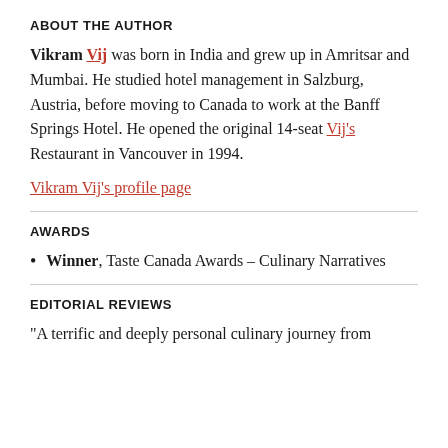ABOUT THE AUTHOR
Vikram Vij was born in India and grew up in Amritsar and Mumbai. He studied hotel management in Salzburg, Austria, before moving to Canada to work at the Banff Springs Hotel. He opened the original 14-seat Vij's Restaurant in Vancouver in 1994.
Vikram Vij's profile page
AWARDS
Winner, Taste Canada Awards – Culinary Narratives
EDITORIAL REVIEWS
“A terrific and deeply personal culinary journey from